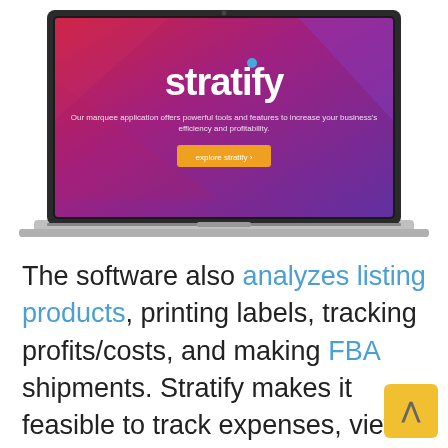[Figure (screenshot): A MacBook laptop displaying the Stratify application homepage with a red-to-purple gradient background, the 'stratify' logo in white, a subtitle about powerful tools and features, and an orange 'explore stratify' button.]
The software also analyzes listing products, printing labels, tracking profits/costs, and making FBA shipments. Stratify makes it feasible to track expenses, view total in-stock values, and monitor